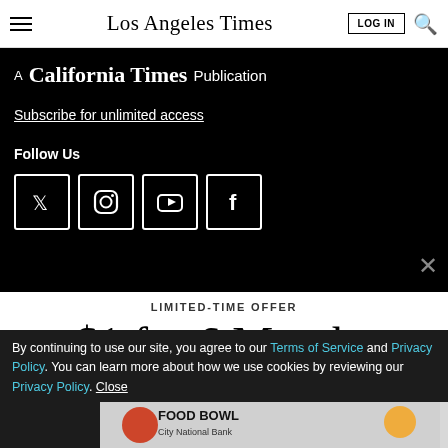Los Angeles Times — LOG IN
A California Times Publication
Subscribe for unlimited access
Follow Us
[Figure (other): Social media icons: Twitter, Instagram, YouTube, Facebook in white bordered boxes on black background]
LIMITED-TIME OFFER
$1 for 6 Months
SUBSCRIBE NOW
By continuing to use our site, you agree to our Terms of Service and Privacy Policy. You can learn more about how we use cookies by reviewing our Privacy Policy. Close